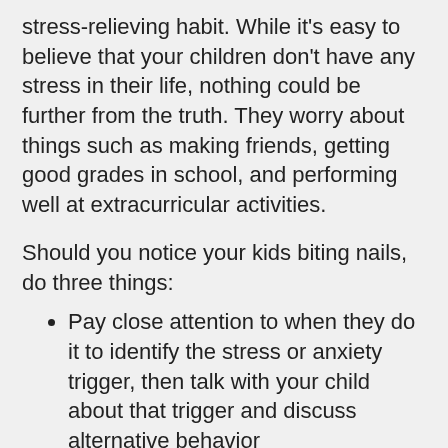stress-relieving habit. While it's easy to believe that your children don't have any stress in their life, nothing could be further from the truth. They worry about things such as making friends, getting good grades in school, and performing well at extracurricular activities.
Should you notice your kids biting nails, do three things:
Pay close attention to when they do it to identify the stress or anxiety trigger, then talk with your child about that trigger and discuss alternative behavior
Ask them why they bite their nails and make sure they understand why they should not do it
Buy a bitter nail polish, and develop a plan to quit